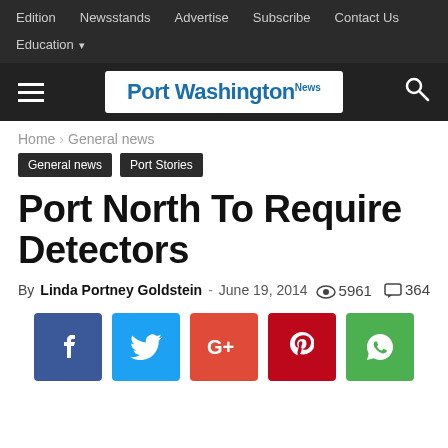Edition  Newsstands  Advertise  Subscribe  Contact Us  Education
[Figure (logo): Port Washington News logo in blue on white background]
Home › General news
General news  Port Stories
Port North To Require Detectors
By Linda Portney Goldstein - June 19, 2014  👁 5961  💬 364
[Figure (infographic): Social sharing buttons: Facebook, Twitter, Google+, Pinterest, WhatsApp]